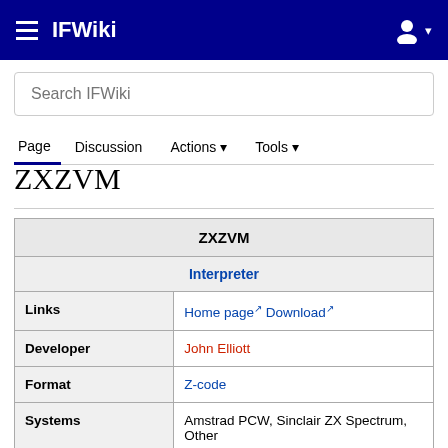IFWiki
Search IFWiki
Page   Discussion   Actions ▾   Tools ▾
ZXZVM
| ZXZVM |
| --- |
| Interpreter |
| Links | Home page↗ Download↗ |
| Developer | John Elliott |
| Format | Z-code |
| Systems | Amstrad PCW, Sinclair ZX Spectrum, Other |